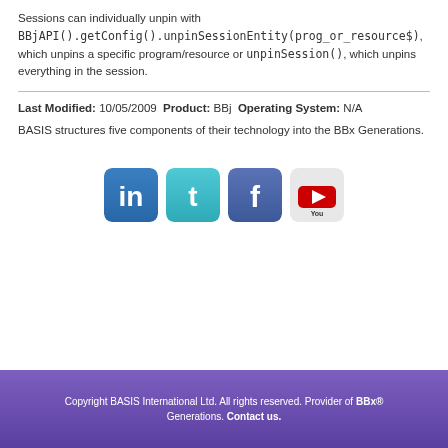Sessions can individually unpin with BBjAPI().getConfig().unpinSessionEntity(prog_or_resource$), which unpins a specific program/resource or unpinSession(), which unpins everything in the session.
Last Modified: 10/05/2009  Product: BBj  Operating System: N/A
BASIS structures five components of their technology into the BBx Generations.
[Figure (illustration): Four social media icon buttons: LinkedIn (blue rounded square with 'in'), Twitter (teal rounded square with bird logo), Facebook (dark blue rounded square with 'f'), YouTube (light grey rounded square with YouTube logo)]
Copyright BASIS International Ltd. All rights reserved. Provider of BBx® Generations. Contact us.